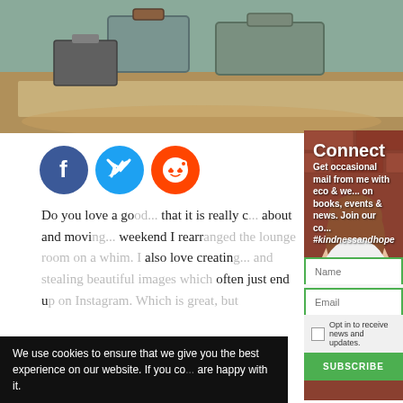[Figure (photo): Top strip photo showing vintage suitcases/luggage on a woven rug with fabric items in the background]
[Figure (photo): Right-side overlay photo of a smiling woman with brown curly hair in a polka-dot top against a brick wall background]
Connect
Get occasional mail from me with eco & we... on books, events & news. Join our co... #kindnessandhope
Do you love a go... that it is really c... about and movi... weekend I rearranged the lounge room on a whim. I also love creatin... and stealing beautiful images which often just end u... on Instagram. Which is great, but
We use cookies to ensure that we give you the best experience on our website. If you co... are happy with it.
Opt in to receive news and updates.
SUBSCRIBE